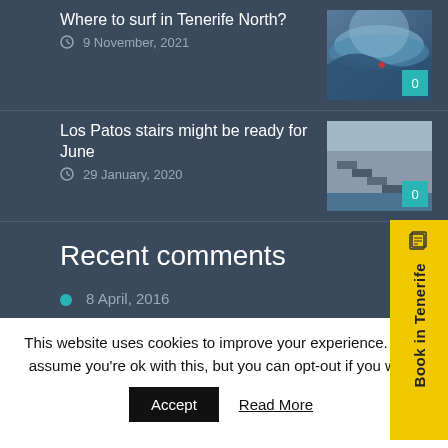Where to surf in Tenerife North?
9 November, 2021
0
Los Patos stairs might be ready for June
29 January, 2020
0
Recent comments
8 April, 2016
christian crossing-taylor commented on Cantabria Surfcamps
Book in Tenerife
This website uses cookies to improve your experience. We'll assume you're ok with this, but you can opt-out if you wish.
Accept
Read More